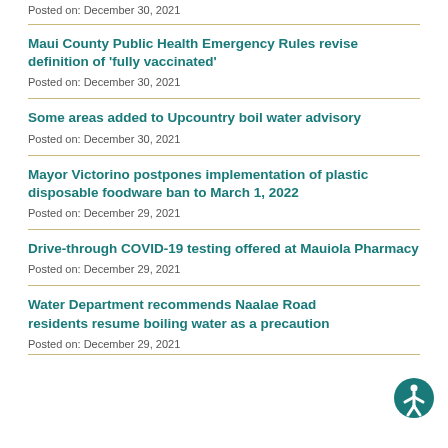Posted on: December 30, 2021
Maui County Public Health Emergency Rules revise definition of 'fully vaccinated'
Posted on: December 30, 2021
Some areas added to Upcountry boil water advisory
Posted on: December 30, 2021
Mayor Victorino postpones implementation of plastic disposable foodware ban to March 1, 2022
Posted on: December 29, 2021
Drive-through COVID-19 testing offered at Mauiola Pharmacy
Posted on: December 29, 2021
Water Department recommends Naalae Road residents resume boiling water as a precaution
Posted on: December 29, 2021